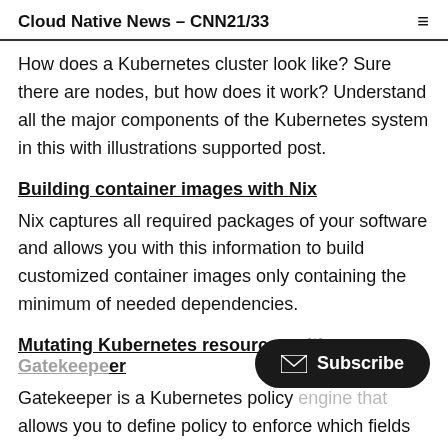Cloud Native News – CNN21/33
How does a Kubernetes cluster look like? Sure there are nodes, but how does it work? Understand all the major components of the Kubernetes system in this with illustrations supported post.
Building container images with Nix
Nix captures all required packages of your software and allows you with this information to build customized container images only containing the minimum of needed dependencies.
Mutating Kubernetes resources w...er
Gatekeeper is a Kubernetes policy... allows you to define policy to enforce which fields